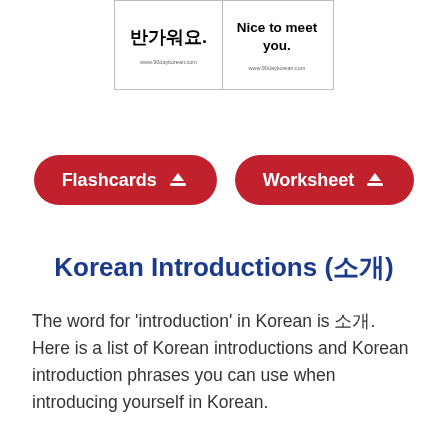[Figure (illustration): Flashcard showing Korean text '반가워요.' on left half and English 'Nice to meet you.' on right half, with website URLs at bottom of each half]
[Figure (infographic): Two red pill-shaped download buttons side by side: 'Flashcards' with download icon, and 'Worksheet' with download icon]
Korean Introductions (소개)
The word for 'introduction' in Korean is 소개. Here is a list of Korean introductions and Korean introduction phrases you can use when introducing yourself in Korean.